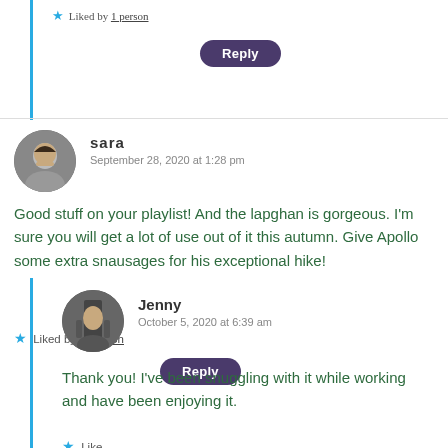★ Liked by 1 person
Reply
sara
September 28, 2020 at 1:28 pm
Good stuff on your playlist! And the lapghan is gorgeous. I'm sure you will get a lot of use out of it this autumn. Give Apollo some extra snausages for his exceptional hike!
★ Liked by 1 person
Reply
Jenny
October 5, 2020 at 6:39 am
Thank you! I've been snuggling with it while working and have been enjoying it.
★ Like
Reply